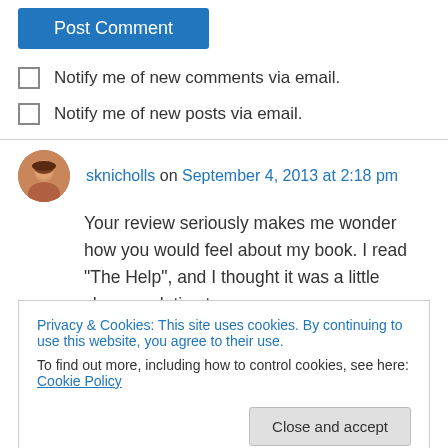Post Comment
Notify me of new comments via email.
Notify me of new posts via email.
sknicholls on September 4, 2013 at 2:18 pm
Your review seriously makes me wonder how you would feel about my book. I read “The Help”, and I thought it was a little cheesy relative to
Privacy & Cookies: This site uses cookies. By continuing to use this website, you agree to their use.
To find out more, including how to control cookies, see here: Cookie Policy
Close and accept
fictional account based on a true story. If you